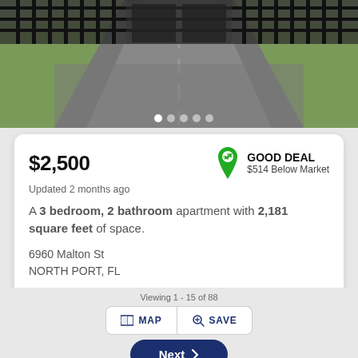[Figure (photo): Photo of a gated driveway entrance with iron fence, asphalt road leading through, and grass on sides]
$2,500
GOOD DEAL
$514 Below Market
Updated 2 months ago
A 3 bedroom, 2 bathroom apartment with 2,181 square feet of space.
6960 Malton St
NORTH PORT, FL
Contact
MAP
SAVE
Next